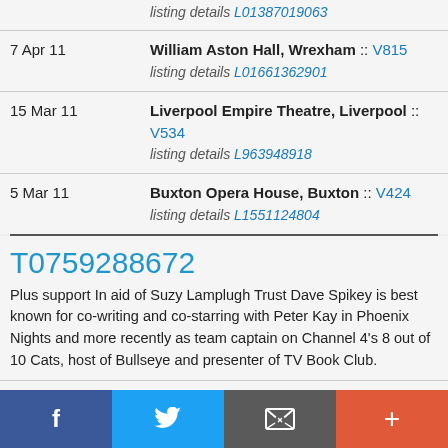| Date | Event |
| --- | --- |
|  | listing details L01387019063 |
| 7 Apr 11 | William Aston Hall, Wrexham :: V815
listing details L01661362901 |
| 15 Mar 11 | Liverpool Empire Theatre, Liverpool :: V534
listing details L963948918 |
| 5 Mar 11 | Buxton Opera House, Buxton :: V424
listing details L1551124804 |
T0759288672
Plus support In aid of Suzy Lamplugh Trust Dave Spikey is best known for co-writing and co-starring with Peter Kay in Phoenix Nights and more recently as team captain on Channel 4's 8 out of 10 Cats, host of Bullseye and presenter of TV Book Club.
| Date | Event |
| --- | --- |
| 18 Nov 11 | Victoria Hall, Stoke-on-Trent :: |